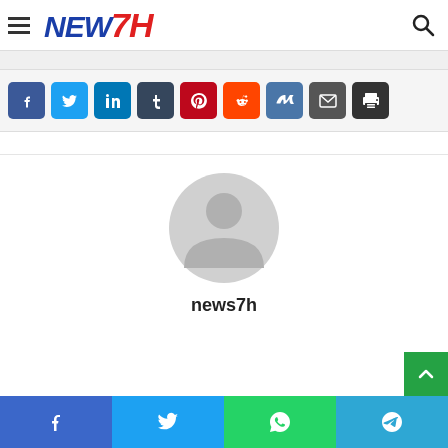NEW7H - News website header with hamburger menu and search icon
[Figure (logo): NEW7H logo: NEW in dark blue italic bold, 7H in red italic bold]
[Figure (infographic): Social share buttons row: Facebook (blue), Twitter (light blue), LinkedIn (dark blue), Tumblr (dark slate), Pinterest (red), Reddit (orange), VK (steel blue), Email (gray), Print (dark gray)]
[Figure (photo): Generic user avatar - gray silhouette of a person on white background]
news7h
[Figure (infographic): Bottom share bar: Facebook (blue), Twitter (light blue), WhatsApp (green), Telegram (teal)]